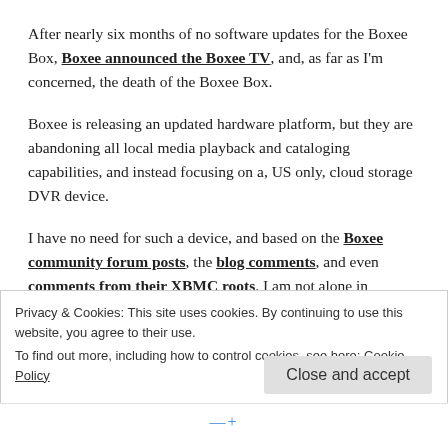After nearly six months of no software updates for the Boxee Box, Boxee announced the Boxee TV, and, as far as I'm concerned, the death of the Boxee Box.
Boxee is releasing an updated hardware platform, but they are abandoning all local media playback and cataloging capabilities, and instead focusing on a, US only, cloud storage DVR device.
I have no need for such a device, and based on the Boxee community forum posts, the blog comments, and even comments from their XBMC roots. I am not alone in
Privacy & Cookies: This site uses cookies. By continuing to use this website, you agree to their use.
To find out more, including how to control cookies, see here: Cookie Policy